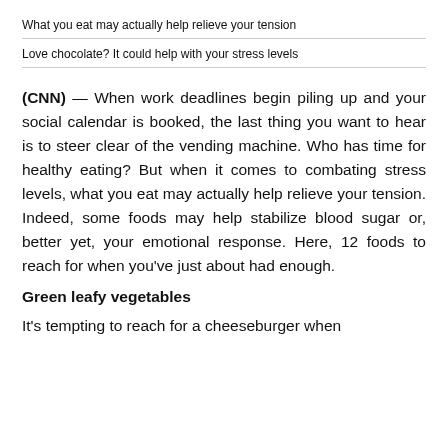What you eat may actually help relieve your tension
Love chocolate? It could help with your stress levels
(CNN) — When work deadlines begin piling up and your social calendar is booked, the last thing you want to hear is to steer clear of the vending machine. Who has time for healthy eating? But when it comes to combating stress levels, what you eat may actually help relieve your tension. Indeed, some foods may help stabilize blood sugar or, better yet, your emotional response. Here, 12 foods to reach for when you've just about had enough.
Green leafy vegetables
It's tempting to reach for a cheeseburger when